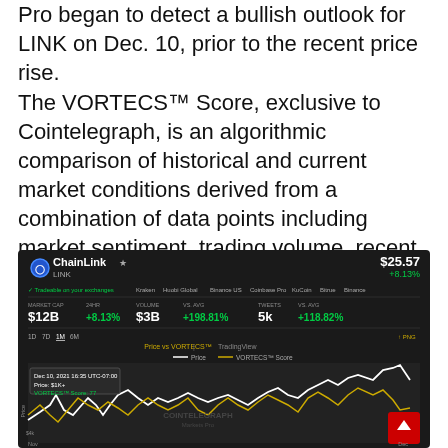Pro began to detect a bullish outlook for LINK on Dec. 10, prior to the recent price rise.
The VORTECS™ Score, exclusive to Cointelegraph, is an algorithmic comparison of historical and current market conditions derived from a combination of data points including market sentiment, trading volume, recent price movements and Twitter activity.
[Figure (screenshot): ChainLink (LINK) cryptocurrency dashboard screenshot showing price $25.57 (+8.13%), market cap $12B, 24hr change +8.13%, volume $3B (+198.81%), tweets 5k (+118.82%), and a Price vs VORTECS Score chart with a white line (price) and gold line (VORTECS score) over time, with a tooltip showing Dec 10, 2021 data point.]